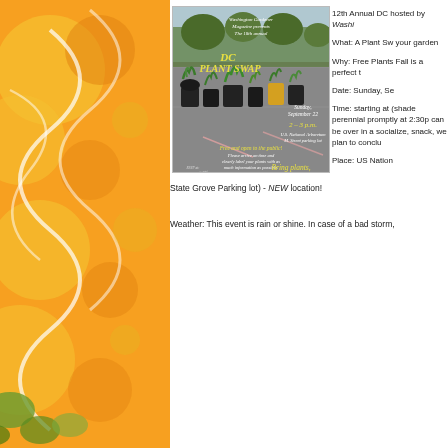[Figure (photo): Photo of DC Plant Swap event poster showing potted plants lined up in a parking lot at U.S. National Arboretum. Text on poster reads: Washington Gardener Magazine presents The 18th annual DC PLANT SWAP, Sunday, September 22, 2 - 3 p.m., U.S. National Arboretum M. Street parking lot, Free and open to the public! Please arrive on time and clearly label your plants with as much information as possible. Bring plants, get plants! RSVP at facebook.com/events/358213627936143434]
12th Annual DC hosted by Washi
What: A Plant Sw your garden
Why: Free Plants Fall is a perfect t
Date: Sunday, Se
Time: starting at (shade perennial promptly at 2:30p can be over in a socialize, snack, we plan to conclu
Place: US Nation State Grove Parking lot) - NEW location!
Weather: This event is rain or shine. In case of a bad storm,